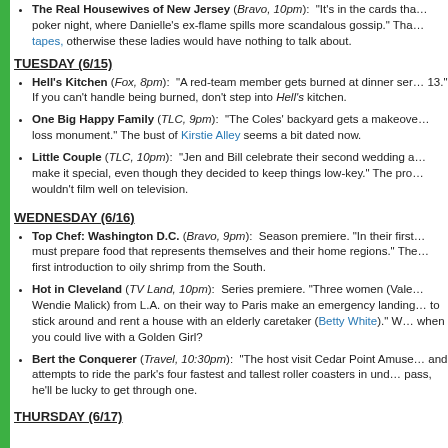The Real Housewives of New Jersey (Bravo, 10pm): "It's in the cards that poker night, where Danielle's ex-flame spills more scandalous gossip." Thanks to tapes, otherwise these ladies would have nothing to talk about.
TUESDAY (6/15)
Hell's Kitchen (Fox, 8pm): "A red-team member gets burned at dinner service 13." If you can't handle being burned, don't step into Hell's kitchen.
One Big Happy Family (TLC, 9pm): "The Coles' backyard gets a makeover loss monument." The bust of Kirstie Alley seems a bit dated now.
Little Couple (TLC, 10pm): "Jen and Bill celebrate their second wedding a make it special, even though they decided to keep things low-key." The pro wouldn't film well on television.
WEDNESDAY (6/16)
Top Chef: Washington D.C. (Bravo, 9pm): Season premiere. "In their first must prepare food that represents themselves and their home regions." The first introduction to oily shrimp from the South.
Hot in Cleveland (TV Land, 10pm): Series premiere. "Three women (Vale Wendie Malick) from L.A. on their way to Paris make an emergency landing to stick around and rent a house with an elderly caretaker (Betty White)." W when you could live with a Golden Girl?
Bert the Conquerer (Travel, 10:30pm): "The host visit Cedar Point Amuse and attempts to ride the park's four fastest and tallest roller coasters in und pass, he'll be lucky to get through one.
THURSDAY (6/17)